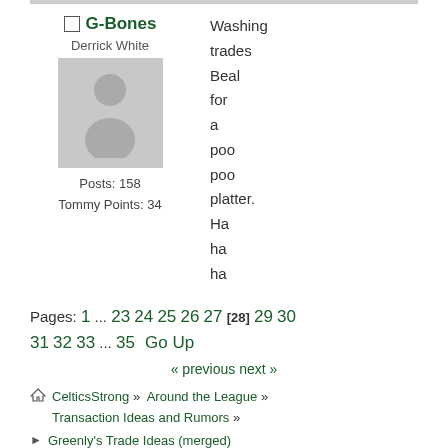G-Bones
Derrick White
Posts: 158
Tommy Points: 34
Washing trades Beal for a poo poo platter. Ha ha ha
Pages: 1 ... 23 24 25 26 27 [28] 29 30 31 32 33 ... 35  Go Up
« previous next »
CelticsStrong » Around the League » Transaction Ideas and Rumors »
Greenly's Trade Ideas (merged)